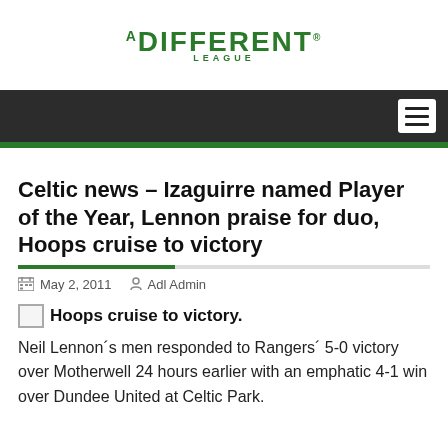A DIFFERENT LEAGUE
Celtic news – Izaguirre named Player of the Year, Lennon praise for duo, Hoops cruise to victory
May 2, 2011   Adl Admin
Hoops cruise to victory.
Neil Lennon´s men responded to Rangers´ 5-0 victory over Motherwell 24 hours earlier with an emphatic 4-1 win over Dundee United at Celtic Park.